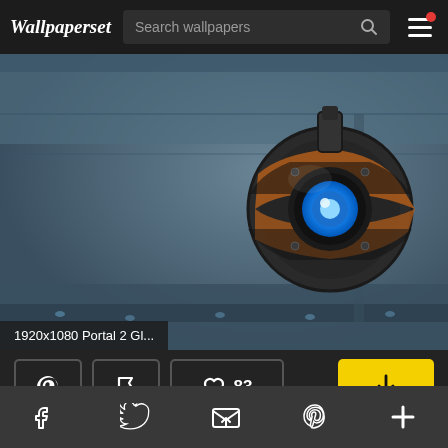Wallpaperset — Search wallpapers
[Figure (screenshot): Portal 2 GLaDOS/Wheatley robot character floating in a blueish industrial room, viewed from below. The robot has a single blue glowing eye and dark mechanical body.]
1920x1080 Portal 2 Gl...
83 likes, Pinterest button, flag button, download button
This website uses cookies. Learn more
Facebook, Twitter, Email, Pinterest, Plus social links